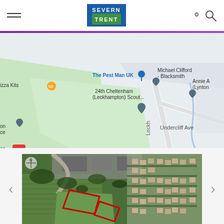[Figure (logo): Severn Trent logo - blue rectangle with SEVERN text and green bar with TRENT text]
[Figure (map): Google Maps screenshot showing Leckhampton area of Cheltenham. Visible labels include: The Pest Man UK, Michael Clifford - Blacksmith, 24th Cheltenham (Leckhampton) Scout..., Annie A (Lynton), Old Bath Rd, Undercliff Ave, Pilford Rd. Green open space visible on left. Grey road network visible.]
[Figure (photo): Aerial/satellite photograph showing a green field with a red rectangle outline marking a specific plot. Buildings and trees visible in upper portion, residential streets visible on right side. Navigation arrows visible on left and right edges.]